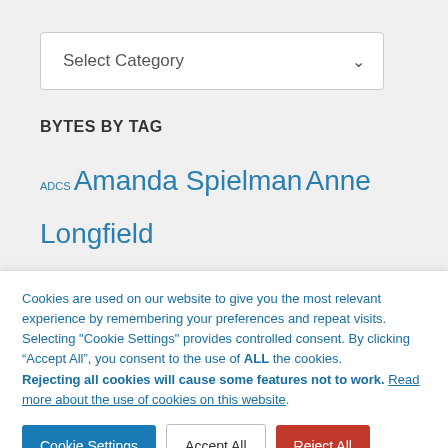[Figure (screenshot): A dropdown select box labeled 'Select Category' with a chevron icon, on a light grey background.]
BYTES BY TAG
ADCS Amanda Spielman Anne Longfield Badman ReviewBBC ...
Cookies are used on our website to give you the most relevant experience by remembering your preferences and repeat visits. Selecting "Cookie Settings" provides controlled consent. By clicking “Accept All”, you consent to the use of ALL the cookies. Rejecting all cookies will cause some features not to work. Read more about the use of cookies on this website.
Cookie Settings | Accept All | Reject All